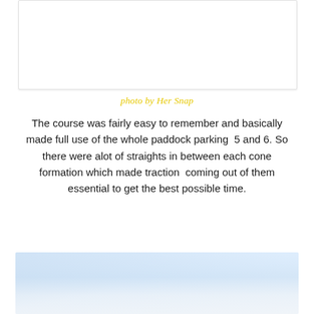[Figure (photo): White/blank image area at top of page, bordered with light shadow]
photo by Her Snap
The course was fairly easy to remember and basically made full use of the whole paddock parking  5 and 6. So there were alot of straights in between each cone formation which made traction  coming out of them essential to get the best possible time.
[Figure (photo): Outdoor photo showing a bright outdoor scene with sky and light blue tones at the bottom of the page]